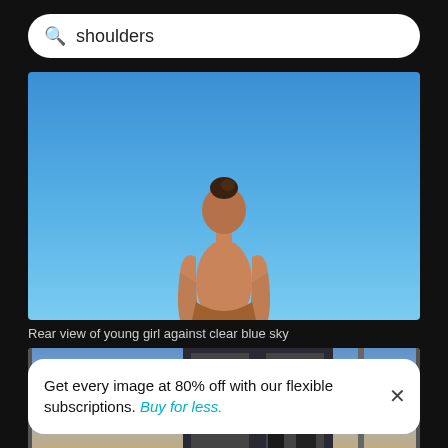shoulders
[Figure (photo): Rear view of a young girl with bare shoulders against a clear blue sky]
Rear view of young girl against clear blue sky
[Figure (photo): Interior airport scene with two people silhouetted against large windows showing a dusk sky, one adult carrying a child on shoulders]
Get every image at 80% off with our flexible subscriptions. Buy for less.